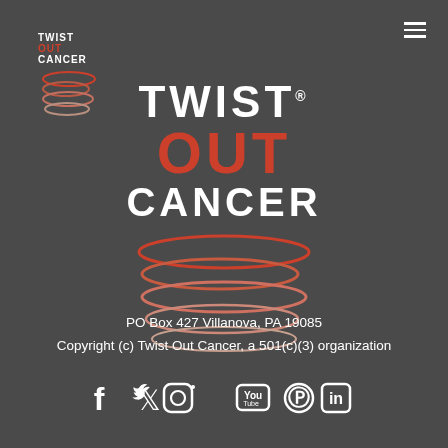[Figure (logo): Twist Out Cancer small top-left logo with spiral graphic]
[Figure (logo): Twist Out Cancer large centered logo with TWIST (white) OUT (red) CANCER (white) text and red/salmon spiral spring graphic below]
PO Box 427 Villanova, PA 19085
Copyright (c) Twist Out Cancer, a 501(c)(3) organization
[Figure (infographic): Social media icons: Facebook, Twitter, Instagram, YouTube, Pinterest, LinkedIn]